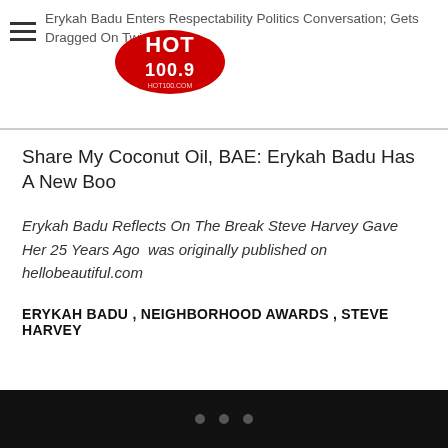Erykah Badu Enters Respectability Politics Conversation; Gets Dragged On Twitter
[Figure (logo): Hot 100.9 radio station logo with red and black design]
Share My Coconut Oil, BAE: Erykah Badu Has A New Boo
Erykah Badu Reflects On The Break Steve Harvey Gave Her 25 Years Ago  was originally published on hellobeautiful.com
ERYKAH BADU , NEIGHBORHOOD AWARDS , STEVE HARVEY